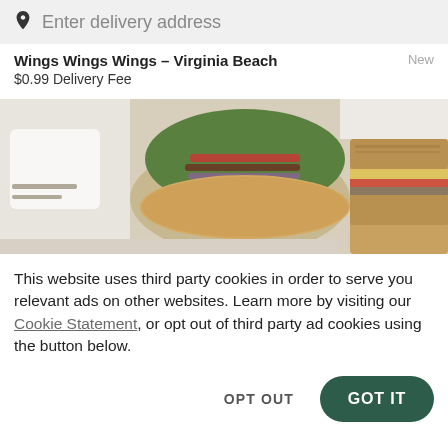Enter delivery address
Wings Wings Wings – Virginia Beach
$0.99 Delivery Fee
[Figure (photo): Food photo showing a veggie wrap with colorful fillings and a sandwich on whole grain bread]
This website uses third party cookies in order to serve you relevant ads on other websites. Learn more by visiting our Cookie Statement, or opt out of third party ad cookies using the button below.
OPT OUT   GOT IT